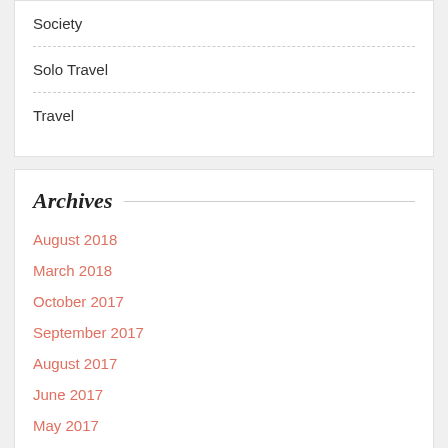Society
Solo Travel
Travel
Archives
August 2018
March 2018
October 2017
September 2017
August 2017
June 2017
May 2017
April 2017